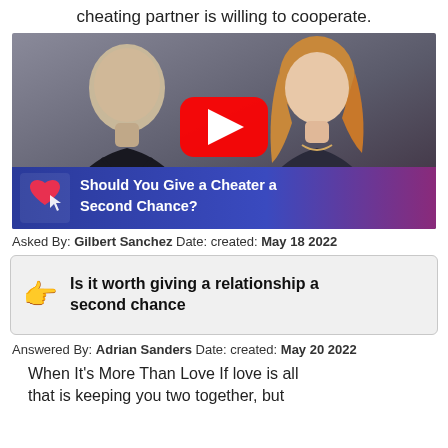cheating partner is willing to cooperate.
[Figure (screenshot): YouTube video thumbnail showing two people (bald man on left, blonde woman on right) with a YouTube play button in the center, and a blue/purple footer bar reading 'Should You Give a Cheater a Second Chance?' with a heart icon.]
Asked By: Gilbert Sanchez Date: created: May 18 2022
Is it worth giving a relationship a second chance
Answered By: Adrian Sanders Date: created: May 20 2022
When It's More Than Love If love is all that is keeping you two together, but